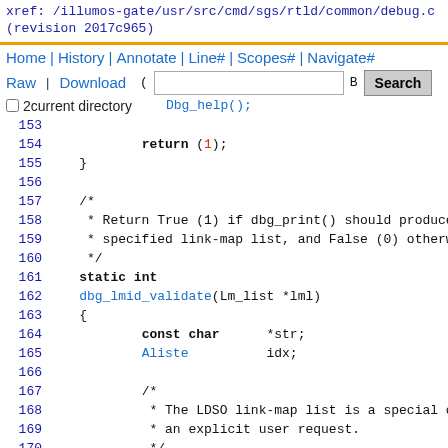xref: /illumos-gate/usr/src/cmd/sgs/rtld/common/debug.c
(revision 2017c965)
Home | History | Annotate | Line# | Scopes# | Navigate#
Raw | Download
[Figure (screenshot): Source code viewer navigation bar with search input and button, showing code lines 150-175 of debug.c]
Source code lines 150-175 of /illumos-gate/usr/src/cmd/sgs/rtld/common/debug.c